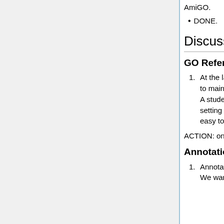AmiGO.
DONE.
Discussion items
GO Reference list
At the last meeting we decided to use Connotea to maintain 'GO PUBs' collection on GO web site. A student in Judy's group will be able to help setting that up. After the first 'upload' it should be easy to maintain. Is there an update on this item?
ACTION: ongoing
Annotation Group
Annotation QC checks using inter-ontology links. We want to